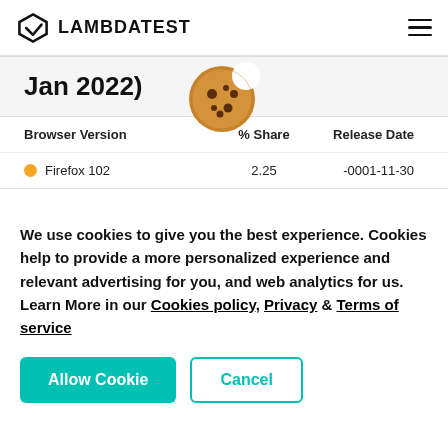LAMBDATEST
Jan 2022)
| Browser Version | % Share | Release Date |
| --- | --- | --- |
| Firefox 102 | 2.25 | -0001-11-30 |
[Figure (illustration): Cookie emoji icon shown as part of cookie consent overlay]
We use cookies to give you the best experience. Cookies help to provide a more personalized experience and relevant advertising for you, and web analytics for us. Learn More in our Cookies policy, Privacy & Terms of service
Allow Cookie   Cancel
ALL DESKTOP BROWSERS (Jan 2021 -